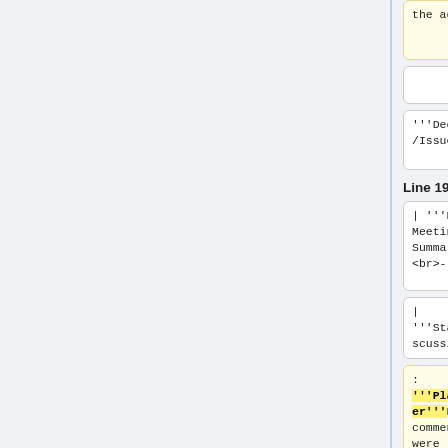the agenda?
were promoted.
'''Decisions/Issues:'''
'''Decisions/Issues:'''
Line 190:
Line 194:
| '''Review Meeting Summaries''' <br>- Chair
| '''Review Meeting Summaries''' <br>- Chair
| '''Status/Discussion:'''
| '''Status/Discussion:'''
: '''Placeholder'''No comments were
: No comments were received about